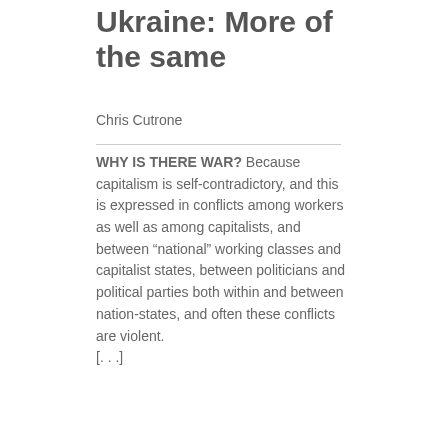Ukraine: More of the same
Chris Cutrone
WHY IS THERE WAR? Because capitalism is self-contradictory, and this is expressed in conflicts among workers as well as among capitalists, and between “national” working classes and capitalist states, between politicians and political parties both within and between nation-states, and often these conflicts are violent.
[. . .]